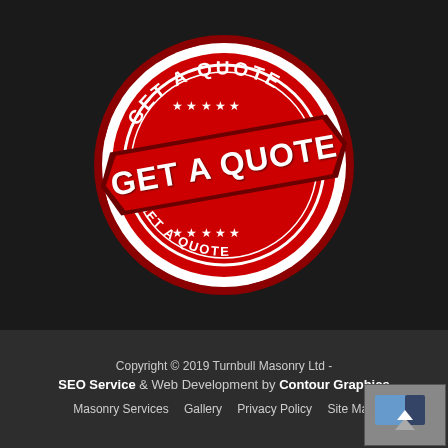[Figure (illustration): Red and white 'GET A QUOTE' stamp/badge graphic on dark background. A circular stamp design with serrated edges, featuring text 'GET A QUOTE' around the top and 'GET A QUOTE' along the bottom arc, with stars. A red diagonal banner across the center reads 'GET A QUOTE' in large distressed white text.]
Copyright © 2019 Turnbull Masonry Ltd - SEO Service & Web Development by Contour Graphics | Masonry Services   Gallery   Privacy Policy   Site Map